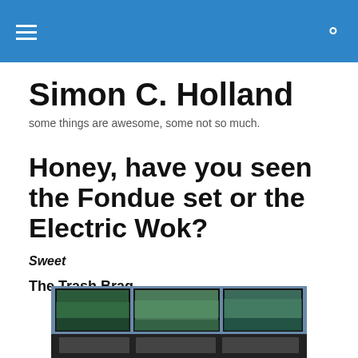Simon C. Holland — site header bar with hamburger menu and search icon
Simon C. Holland
some things are awesome, some not so much.
Honey, have you seen the Fondue set or the Electric Wok?
Sweet
The Trash Brag
[Figure (photo): Interior photo of a store or restaurant with large framed landscape photos/screens mounted on a dark wall above a shelf or counter.]